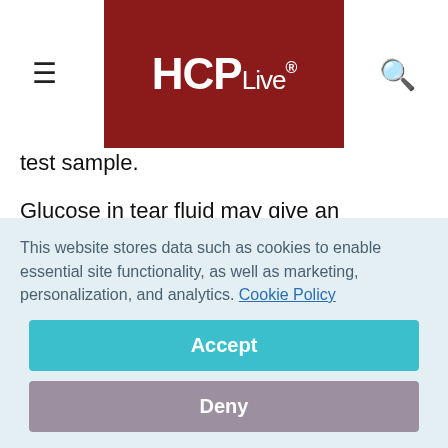HCPLive®
test sample.
Glucose in tear fluid may give an indication of glucose levels in the blood as accurately as a test using a blood sample, the researchers say.
“The problem with current self-monitoring blood
This website stores data such as cookies to enable essential site functionality, as well as marketing, personalization, and analytics. Cookie Policy
Accept
Deny